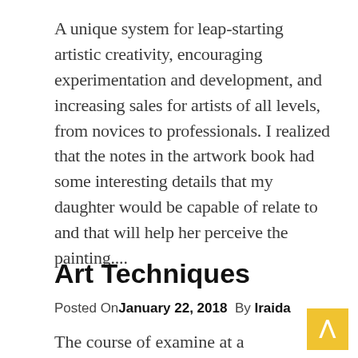A unique system for leap-starting artistic creativity, encouraging experimentation and development, and increasing sales for artists of all levels, from novices to professionals. I realized that the notes in the artwork book had some interesting details that my daughter would be capable of relate to and that will help her perceive the painting....
COLLAGE FOR ARTS
Art Techniques
Posted On January 22, 2018  By Iraida
The course of examine at a culinary arts faculty,